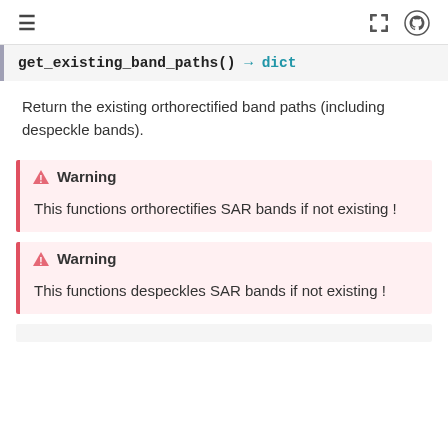≡  [expand] [github]
get_existing_band_paths() → dict
Return the existing orthorectified band paths (including despeckle bands).
Warning
This functions orthorectifies SAR bands if not existing !
Warning
This functions despeckles SAR bands if not existing !